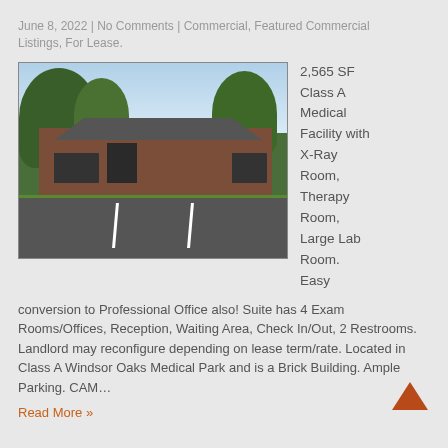June 8, 2022 | No Comments | Commercial, Featured Commercial Listings, For Lease.
[Figure (photo): Exterior photo of a brick medical office building with parking lot and trees]
2,565 SF Class A Medical Facility with X-Ray Room, Therapy Room, Large Lab Room. Easy conversion to Professional Office also! Suite has 4 Exam Rooms/Offices, Reception, Waiting Area, Check In/Out, 2 Restrooms. Landlord may reconfigure depending on lease term/rate. Located in Class A Windsor Oaks Medical Park and is a Brick Building. Ample Parking. CAM…
Read More »